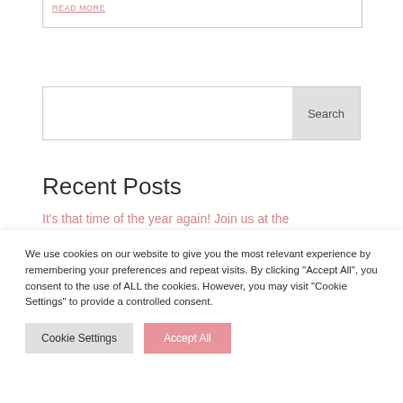READ MORE
[Figure (screenshot): Search input box with Search button on the right]
Recent Posts
It's that time of the year again! Join us at the
We use cookies on our website to give you the most relevant experience by remembering your preferences and repeat visits. By clicking "Accept All", you consent to the use of ALL the cookies. However, you may visit "Cookie Settings" to provide a controlled consent.
Cookie Settings | Accept All